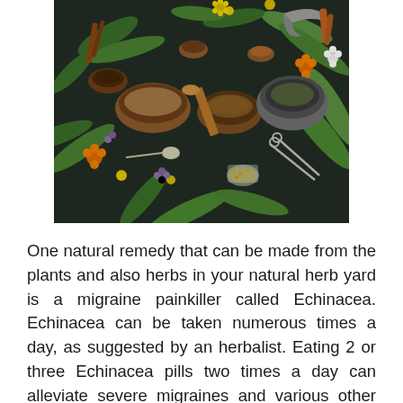[Figure (photo): Overhead flat-lay photo of various medicinal herbs, flowers, spices, wooden bowls, and metal containers arranged on a dark slate background. Includes green leaves, yellow flowers, dried roots, and assorted herbs and spices.]
One natural remedy that can be made from the plants and also herbs in your natural herb yard is a migraine painkiller called Echinacea. Echinacea can be taken numerous times a day, as suggested by an herbalist. Eating 2 or three Echinacea pills two times a day can alleviate severe migraines and various other sorts of frustrations. Other natural remedy for